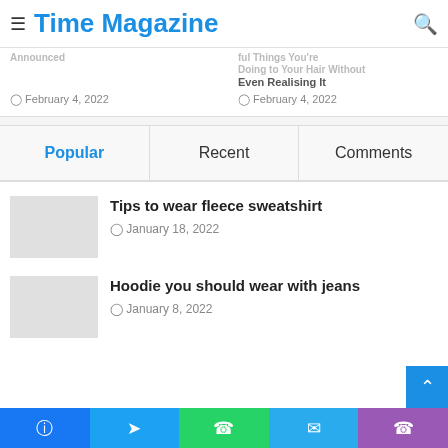Time Magazine
Announced · February 4, 2022
ful Things You're Doing to Your Hair Without Even Realising It · February 4, 2022
Popular | Recent | Comments
Tips to wear fleece sweatshirt · January 18, 2022
Hoodie you should wear with jeans · January 8, 2022
Social share bar: Facebook, Twitter, WhatsApp, Telegram, Phone